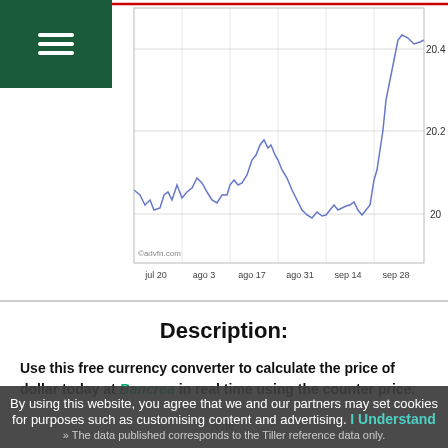[Figure (continuous-plot): Line chart of currency exchange rate from jul 20 to sep 28, with values ranging between approximately 20 and 20.4. Blue line on white background with red horizontal line at top (~20.5). Y-axis labels: 20, 20.2, 20.4. X-axis labels: jul 20, ago 3, ago 17, ago 31, sep 14, sep 28.]
Description:
Use this free currency converter to calculate the price of dollar today at Bancrea in real time using the counter price.
Note:
» The data published corresponds to the Tiller reference data only.
By using this website, you agree that we and our partners may set cookies for purposes such as customising content and advertising. I Understand